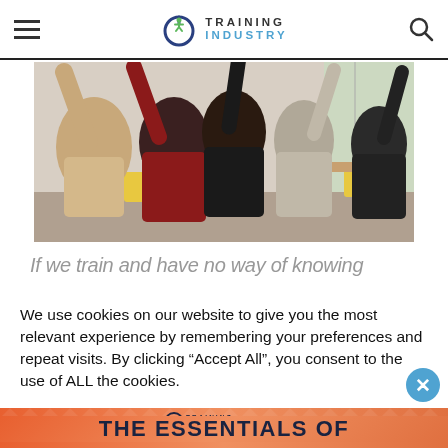Training Industry
[Figure (photo): Students or trainees sitting in a classroom with arms raised, viewed from behind. Bright classroom setting with yellow chairs.]
If we train and have no way of knowing
We use cookies on our website to give you the most relevant experience by remembering your preferences and repeat visits. By clicking “Accept All”, you consent to the use of ALL the cookies.
[Figure (logo): Training Industry logo with orange/coral gradient background and diamond pattern. Text reads THE ESSENTIALS OF below the logo.]
THE ESSENTIALS OF